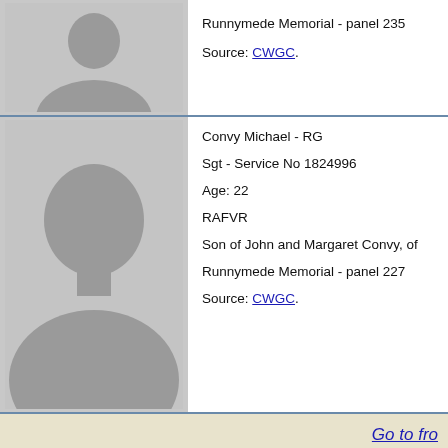[Figure (photo): Grey silhouette placeholder photo for first record]
Runnymede Memorial - panel 235
Source: CWGC.
[Figure (photo): Grey silhouette placeholder photo for Convy Michael - RG]
Convy Michael - RG
Sgt - Service No 1824996
Age: 22
RAFVR
Son of John and Margaret Convy, of
Runnymede Memorial - panel 227
Source: CWGC.
Go to fro